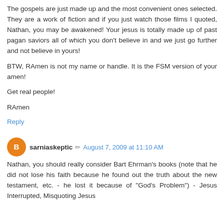The gospels are just made up and the most convenient ones selected. They are a work of fiction and if you just watch those films I quoted, Nathan, you may be awakened! Your jesus is totally made up of past pagan saviors all of which you don't believe in and we just go further and not believe in yours!

BTW, RAmen is not my name or handle. It is the FSM version of your amen!

Get real people!

RAmen
Reply
sarniaskeptic  August 7, 2009 at 11:10 AM
Nathan, you should really consider Bart Ehrman's books (note that he did not lose his faith because he found out the truth about the new testament, etc. - he lost it because of "God's Problem") - Jesus Interrupted, Misquoting Jesus